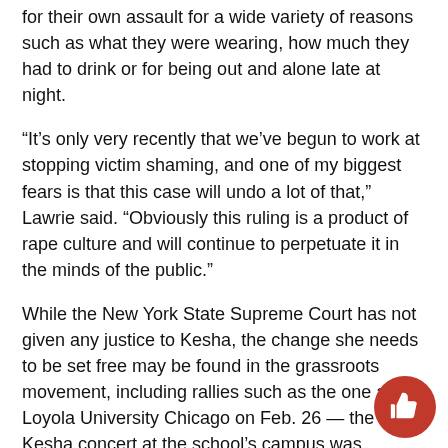for their own assault for a wide variety of reasons such as what they were wearing, how much they had to drink or for being out and alone late at night.
“It’s only very recently that we’ve begun to work at stopping victim shaming, and one of my biggest fears is that this case will undo a lot of that,” Lawrie said. “Obviously this ruling is a product of rape culture and will continue to perpetuate it in the minds of the public.”
While the New York State Supreme Court has not given any justice to Kesha, the change she needs to be set free may be found in the grassroots movement, including rallies such as the one at Loyola University Chicago on Feb. 26 — the day a Kesha concert at the school’s campus was cancelled due to “personal issues” according to the singer’s management.
Despite the pop star cancelling her concert, students and community members at Loyola still held a rally in support of Kesha.
“We hope this rally shows Kesha that she has a huge support rallying behind her,” Shanzeh Daudi, a Loyola student and one of the